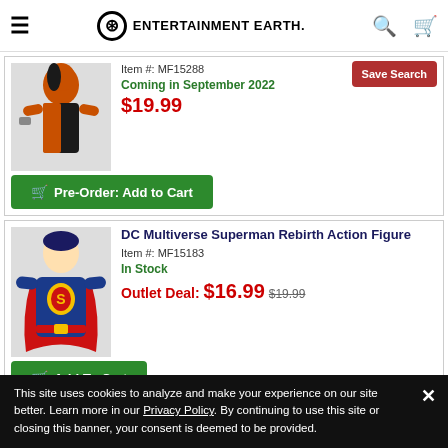Entertainment Earth — Navigation header with hamburger menu, logo, search, and cart
Item #: MF15288
Coming in September 2022
$19.99
Save Search
Pre-Order: Add to Cart
DC Multiverse Superman Rebirth Action Figure
Item #: MF15183
In Stock
Outlet Deal: $16.99  $19.99
Add To Cart
This site uses cookies to analyze and make your experience on our site better. Learn more in our Privacy Policy. By continuing to use this site or closing this banner, your consent is deemed to be provided.